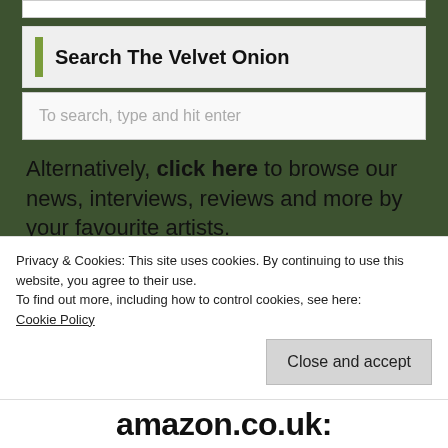Search The Velvet Onion
To search, type and hit enter
Alternatively, click here to browse our news, interviews, reviews and more by your favourite artists.
TVO on Facebook
Privacy & Cookies: This site uses cookies. By continuing to use this website, you agree to their use.
To find out more, including how to control cookies, see here:
Cookie Policy
Close and accept
amazon.co.uk: